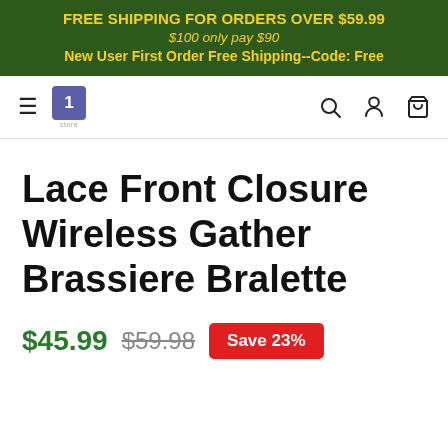FREE SHIPPING FOR ORDERS OVER $59.99
$100 only pay $90
New User First Order Free Shipping--Code: Free
[Figure (logo): Navigation bar with hamburger menu, store logo (purple square with number 1), and icons for search, account, and cart]
Lace Front Closure Wireless Gather Brassiere Bralette
$45.99  $59.98  Save 23%